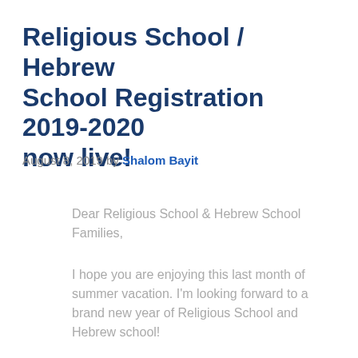Religious School / Hebrew School Registration 2019-2020 now live!
August 8, 2019 by Shalom Bayit
Dear Religious School & Hebrew School Families,
I hope you are enjoying this last month of summer vacation. I'm looking forward to a brand new year of Religious School and Hebrew school!
Religious school will begin on Sunday